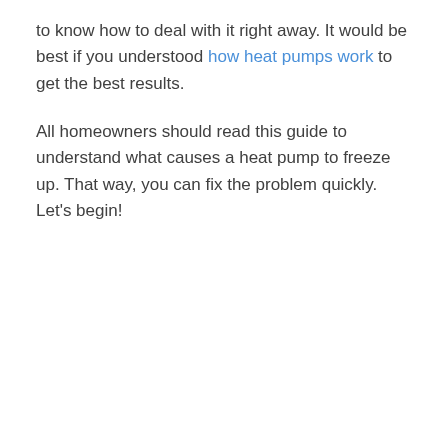to know how to deal with it right away. It would be best if you understood how heat pumps work to get the best results.
All homeowners should read this guide to understand what causes a heat pump to freeze up. That way, you can fix the problem quickly. Let's begin!